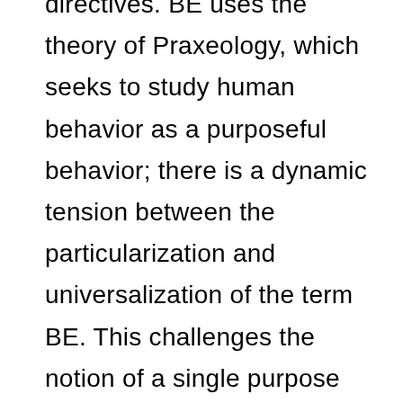directives. BE uses the theory of Praxeology, which seeks to study human behavior as a purposeful behavior; there is a dynamic tension between the particularization and universalization of the term BE. This challenges the notion of a single purpose actuating BE. BE is not a unity, but has different configurations and aims